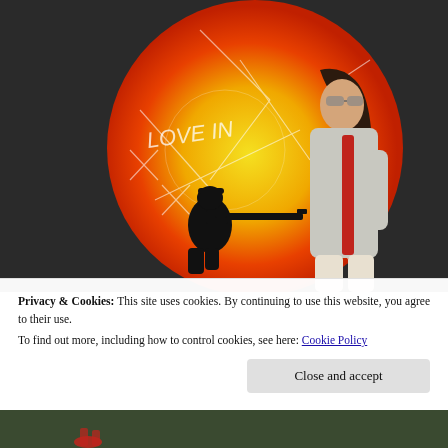[Figure (photo): A woman with long dark hair and sunglasses walks in front of a large street art mural on a dark wall. The mural features a large yellow-to-red gradient circle with a black silhouette of a kneeling soldier aiming a rifle, and graffiti text reading 'LOVE IN' with other scratched markings. The woman wears a light grey cardigan with red accents.]
Privacy & Cookies: This site uses cookies. By continuing to use this website, you agree to their use.
To find out more, including how to control cookies, see here: Cookie Policy
[Figure (photo): Partial view of another photo at the bottom of the page showing a figure in red shoes.]